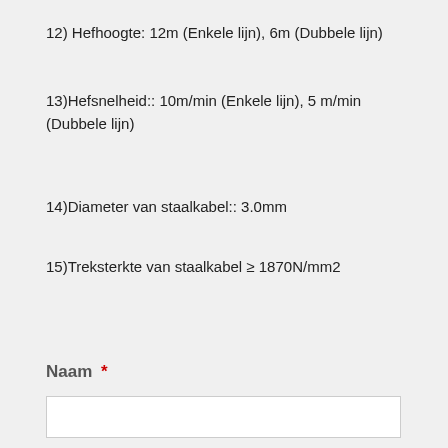12) Hefhoogte: 12m (Enkele lijn), 6m (Dubbele lijn)
13)Hefsnelheid:: 10m/min (Enkele lijn), 5 m/min (Dubbele lijn)
14)Diameter van staalkabel:: 3.0mm
15)Treksterkte van staalkabel ≥ 1870N/mm2
Naam *